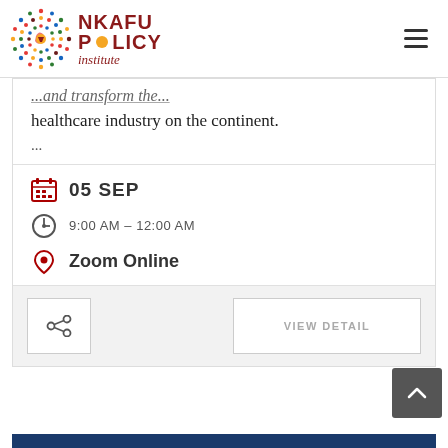Nkafu Policy Institute
healthcare industry on the continent.
...
05 SEP
9:00 AM – 12:00 AM
Zoom Online
VIEW DETAIL